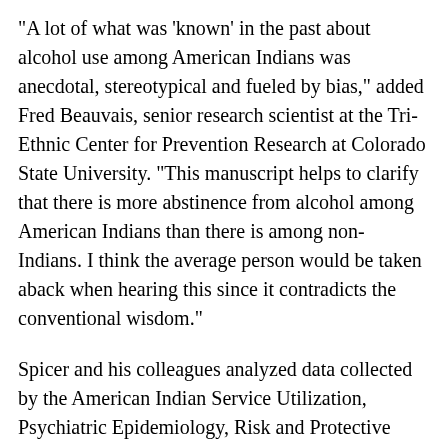"A lot of what was 'known' in the past about alcohol use among American Indians was anecdotal, stereotypical and fueled by bias," added Fred Beauvais, senior research scientist at the Tri-Ethnic Center for Prevention Research at Colorado State University. "This manuscript helps to clarify that there is more abstinence from alcohol among American Indians than there is among non-Indians. I think the average person would be taken aback when hearing this since it contradicts the conventional wisdom."
Spicer and his colleagues analyzed data collected by the American Indian Service Utilization, Psychiatric Epidemiology, Risk and Protective Factors Project (AI-SUPERPFP) since 1997 from 3,084 NP and SW individuals living on or within 20 miles of their reservations. "Our goal was to describe reservation and near-reservation American Indian populations as opposed to urban Indian populations," said Spicer, "as the former have not been included in